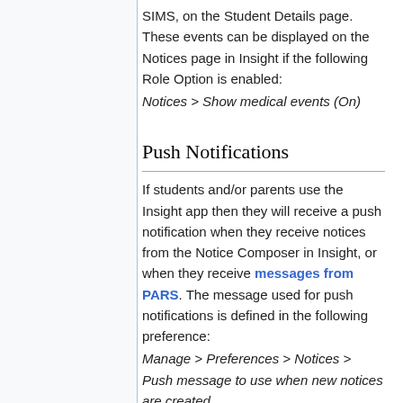SIMS, on the Student Details page. These events can be displayed on the Notices page in Insight if the following Role Option is enabled:
Notices > Show medical events (On)
Push Notifications
If students and/or parents use the Insight app then they will receive a push notification when they receive notices from the Notice Composer in Insight, or when they receive messages from PARS. The message used for push notifications is defined in the following preference:
Manage > Preferences > Notices > Push message to use when new notices are created